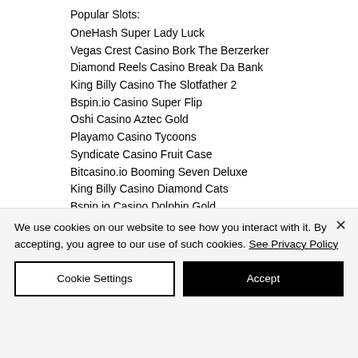Popular Slots:
OneHash Super Lady Luck
Vegas Crest Casino Bork The Berzerker
Diamond Reels Casino Break Da Bank
King Billy Casino The Slotfather 2
Bspin.io Casino Super Flip
Oshi Casino Aztec Gold
Playamo Casino Tycoons
Syndicate Casino Fruit Case
Bitcasino.io Booming Seven Deluxe
King Billy Casino Diamond Cats
Bspin.io Casino Dolphin Gold
CryptoWild Casino Ice Hockey
1xBit Casino Jewellery Store
We use cookies on our website to see how you interact with it. By accepting, you agree to our use of such cookies. See Privacy Policy
Cookie Settings
Accept